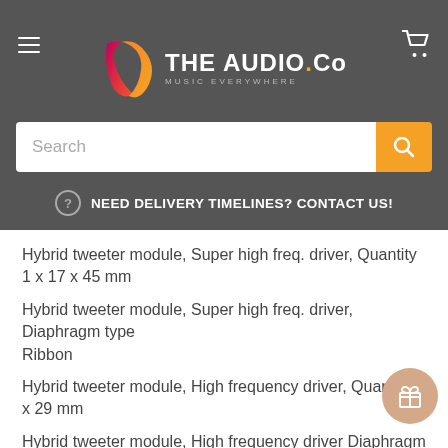[Figure (screenshot): The Audio.Co website header with logo, hamburger menu, cart icon, search bar, and delivery contact banner]
Hybrid tweeter module, Super high freq. driver, Quantity 1 x 17 x 45 mm
Hybrid tweeter module, Super high freq. driver, Diaphragm type
Ribbon
Hybrid tweeter module, High frequency driver, Quantity 1 x 29 mm
Hybrid tweeter module, High frequency driver Diaphragm type